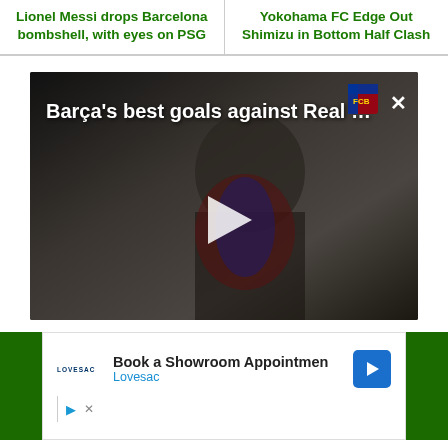Lionel Messi drops Barcelona bombshell, with eyes on PSG
Yokohama FC Edge Out Shimizu in Bottom Half Clash
[Figure (screenshot): Video player showing a Barcelona footballer in blue-red jersey, with overlay text 'Barça's best goals against Real …', a Barcelona FC badge in top right, a close (×) button, and a white play button triangle in the center.]
[Figure (screenshot): Advertisement banner showing Lovesac logo, text 'Book a Showroom Appointmen' with cyan 'Lovesac' subtext, a blue navigation arrow icon, and small media control icons at bottom. Green side panels flank the ad.]